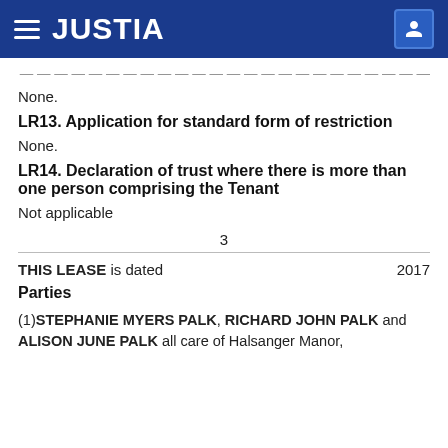JUSTIA
None.
LR13. Application for standard form of restriction
None.
LR14. Declaration of trust where there is more than one person comprising the Tenant
Not applicable
3
THIS LEASE is dated  2017
Parties
(1) STEPHANIE MYERS PALK, RICHARD JOHN PALK and ALISON JUNE PALK all care of Halsanger Manor,